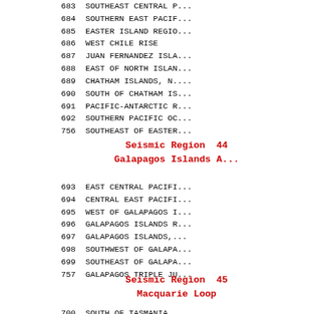683 SOUTHEAST CENTRAL P...
684 SOUTHERN EAST PACIF...
685 EASTER ISLAND REGIO...
686 WEST CHILE RISE
687 JUAN FERNANDEZ ISLA...
688 EAST OF NORTH ISLAN...
689 CHATHAM ISLANDS, N....
690 SOUTH OF CHATHAM IS...
691 PACIFIC-ANTARCTIC R...
692 SOUTHERN PACIFIC OC...
756 SOUTHEAST OF EASTER...
Seismic Region  44
Galapagos Islands A...
693 EAST CENTRAL PACIFI...
694 CENTRAL EAST PACIFI...
695 WEST OF GALAPAGOS I...
696 GALAPAGOS ISLANDS R...
697 GALAPAGOS ISLANDS,...
698 SOUTHWEST OF GALAPA...
699 SOUTHEAST OF GALAPA...
757 GALAPAGOS TRIPLE JU...
Seismic Region  45
Macquarie Loop
700 SOUTH OF TASMANIA...